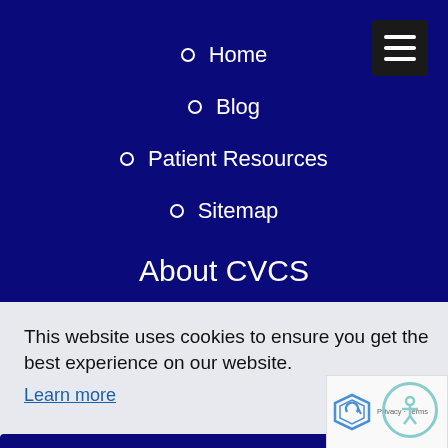Home
Blog
Patient Resources
Sitemap
About CVCS
About Us
Doctors
This website uses cookies to ensure you get the best experience on our website.
Learn more
Learing Center
Accept
Infographics
Videos
Blog